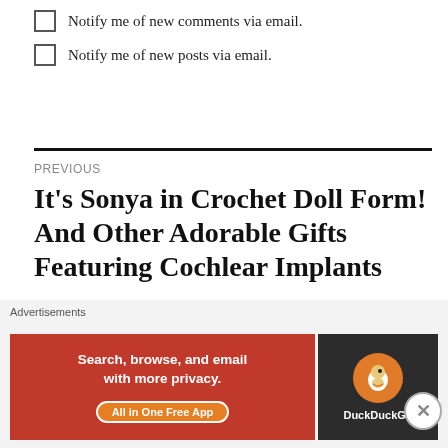Notify me of new comments via email.
Notify me of new posts via email.
PREVIOUS
It’s Sonya in Crochet Doll Form! And Other Adorable Gifts Featuring Cochlear Implants
NEXT
[Figure (screenshot): DuckDuckGo advertisement banner: orange background with text 'Search, browse, and email with more privacy. All in One Free App' and DuckDuckGo logo on dark background]